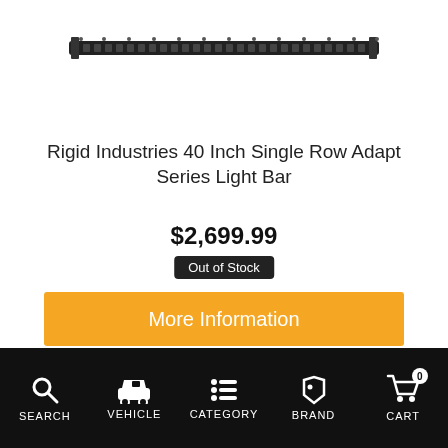[Figure (photo): Rigid Industries 40 Inch Single Row LED light bar product image on white background]
Rigid Industries 40 Inch Single Row Adapt Series Light Bar
$2,699.99
Out of Stock
More Information
[Figure (other): Secure Browsing badge dated 8/22/2022 with green shield and lock icon]
ING
SEARCH  VEHICLE  CATEGORY  BRAND  CART